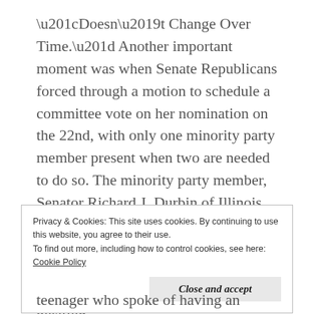“Doesn’t Change Over Time.” Another important moment was when Senate Republicans forced through a motion to schedule a committee vote on her nomination on the 22nd, with only one minority party member present when two are needed to do so. The minority party member, Senator Richard J. Durbin of Illinois called this out to the committee chairman Lindsey Graham, but Graham rejected this saying Democrats would do the same in this position.
Privacy & Cookies: This site uses cookies. By continuing to use this website, you agree to their use.
To find out more, including how to control cookies, see here:
Cookie Policy

Close and accept
teenager who spoke of having an abortion after